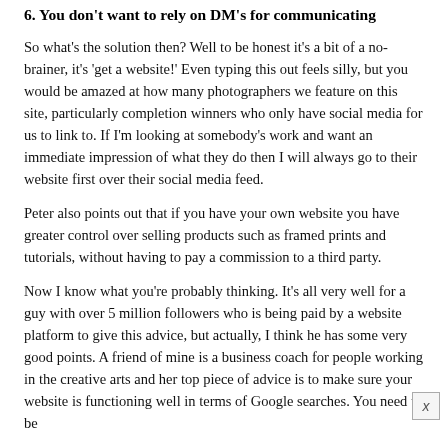6. You don't want to rely on DM's for communicating
So what's the solution then? Well to be honest it's a bit of a no-brainer, it's 'get a website!' Even typing this out feels silly, but you would be amazed at how many photographers we feature on this site, particularly completion winners who only have social media for us to link to. If I'm looking at somebody's work and want an immediate impression of what they do then I will always go to their website first over their social media feed.
Peter also points out that if you have your own website you have greater control over selling products such as framed prints and tutorials, without having to pay a commission to a third party.
Now I know what you're probably thinking. It's all very well for a guy with over 5 million followers who is being paid by a website platform to give this advice, but actually, I think he has some very good points. A friend of mine is a business coach for people working in the creative arts and her top piece of advice is to make sure your website is functioning well in terms of Google searches. You need to be